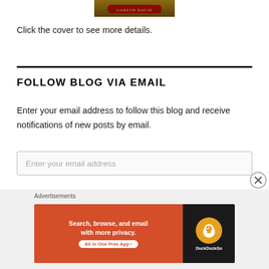[Figure (illustration): Partial view of a book cover by Gareth David at the top of the page]
Click the cover to see more details.
FOLLOW BLOG VIA EMAIL
Enter your email address to follow this blog and receive notifications of new posts by email.
Enter your email address
Advertisements
[Figure (screenshot): DuckDuckGo advertisement banner: 'Search, browse, and email with more privacy. All in One Free App' with DuckDuckGo logo on dark background]